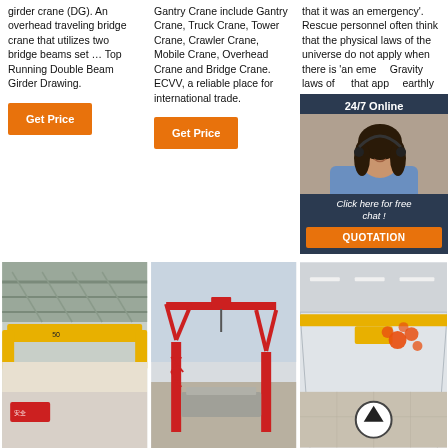girder crane (DG). An overhead traveling bridge crane that utilizes two bridge beams set … Top Running Double Beam Girder Drawing.
Get Price
Gantry Crane include Gantry Crane, Truck Crane, Tower Crane, Crawler Crane, Mobile Crane, Overhead Crane and Bridge Crane. ECVV, a reliable place for international trade.
Get Price
that it was an emergency'. Rescue personnel often think that the physical laws of the universe do not apply when there is 'an emergency'. Gravity laws of the earthly environment
Get Price
[Figure (infographic): 24/7 Online chat bubble overlay with photo of woman wearing headset, dark navy background, orange QUOTATION button]
[Figure (photo): Interior of industrial building with yellow overhead bridge crane visible from below]
[Figure (photo): Red gantry crane structure outdoors on construction site]
[Figure (photo): Interior rendering of industrial warehouse with yellow overhead crane and orange emoji overlay]